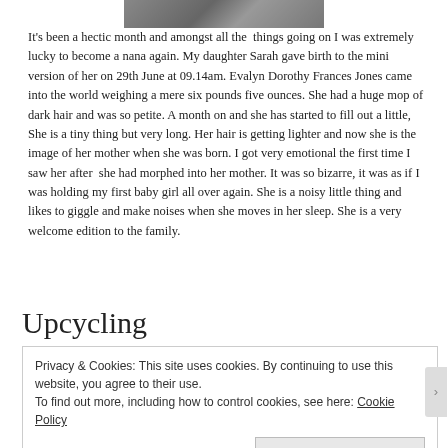[Figure (photo): Partial photo of a baby, showing top portion, cropped at top of page]
It's been a hectic month and amongst all the things going on I was extremely lucky to become a nana again. My daughter Sarah gave birth to the mini version of her on 29th June at 09.14am. Evalyn Dorothy Frances Jones came into the world weighing a mere six pounds five ounces. She had a huge mop of dark hair and was so petite. A month on and she has started to fill out a little, She is a tiny thing but very long. Her hair is getting lighter and now she is the image of her mother when she was born. I got very emotional the first time I saw her after she had morphed into her mother. It was so bizarre, it was as if I was holding my first baby girl all over again. She is a noisy little thing and likes to giggle and make noises when she moves in her sleep. She is a very welcome edition to the family.
Upcycling
Privacy & Cookies: This site uses cookies. By continuing to use this website, you agree to their use.
To find out more, including how to control cookies, see here: Cookie Policy
Close and accept